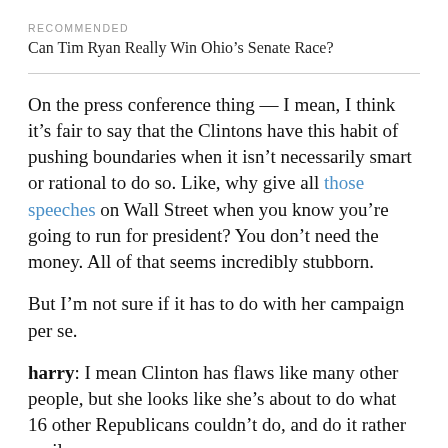RECOMMENDED
Can Tim Ryan Really Win Ohio's Senate Race?
On the press conference thing — I mean, I think it's fair to say that the Clintons have this habit of pushing boundaries when it isn't necessarily smart or rational to do so. Like, why give all those speeches on Wall Street when you know you're going to run for president? You don't need the money. All of that seems incredibly stubborn.
But I'm not sure if it has to do with her campaign per se.
harry: I mean Clinton has flaws like many other people, but she looks like she's about to do what 16 other Republicans couldn't do, and do it rather easily.